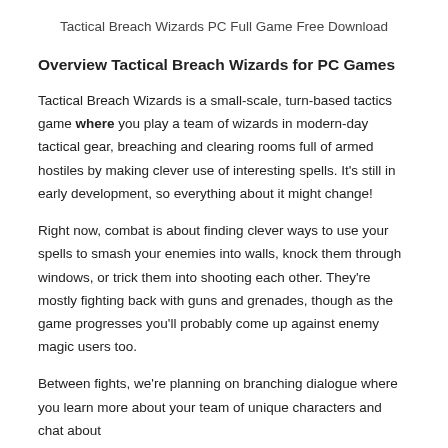Tactical Breach Wizards PC Full Game Free Download
Overview Tactical Breach Wizards for PC Games
Tactical Breach Wizards is a small-scale, turn-based tactics game where you play a team of wizards in modern-day tactical gear, breaching and clearing rooms full of armed hostiles by making clever use of interesting spells. It's still in early development, so everything about it might change!
Right now, combat is about finding clever ways to use your spells to smash your enemies into walls, knock them through windows, or trick them into shooting each other. They're mostly fighting back with guns and grenades, though as the game progresses you'll probably come up against enemy magic users too.
Between fights, we're planning on branching dialogue where you learn more about your team of unique characters and chat about